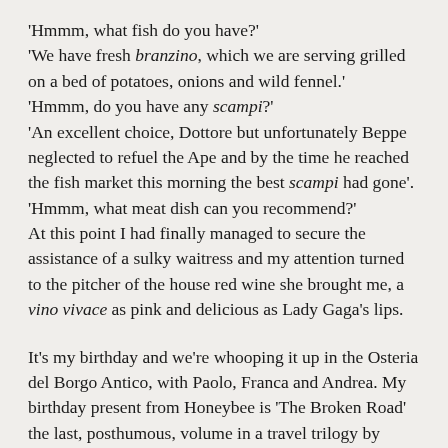'Hmmm, what fish do you have?' 'We have fresh branzino, which we are serving grilled on a bed of potatoes, onions and wild fennel.' 'Hmmm, do you have any scampi?' 'An excellent choice, Dottore but unfortunately Beppe neglected to refuel the Ape and by the time he reached the fish market this morning the best scampi had gone'. 'Hmmm, what meat dish can you recommend?' At this point I had finally managed to secure the assistance of a sulky waitress and my attention turned to the pitcher of the house red wine she brought me, a vino vivace as pink and delicious as Lady Gaga's lips.
It's my birthday and we're whooping it up in the Osteria del Borgo Antico, with Paolo, Franca and Andrea. My birthday present from Honeybee is 'The Broken Road' the last, posthumous, volume in a travel trilogy by Patrick Leigh Fermor. In 1933 at the age of 18, the author begins a walk from the Hook of Holland to